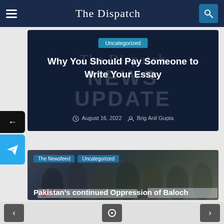The Dispatch
[Figure (screenshot): Article card with dark navy background and watermark text 'The Dispatch NEWS UPDATE'. Tagged 'Uncategorized'. Title: 'Why You Should Pay Someone to Write Your Essay'. Date: August 16, 2022. Author: Brig Anil Gupta.]
Why You Should Pay Someone to Write Your Essay
August 16, 2022  Brig Anil Gupta
[Figure (photo): Photo of protesters, mostly women in headscarves, holding banners. Tags: 'The Newsfeed', 'Uncategorized'. Article title: Pakistan's continued Oppression of Baloch]
Pakistan's continued Oppression of Baloch